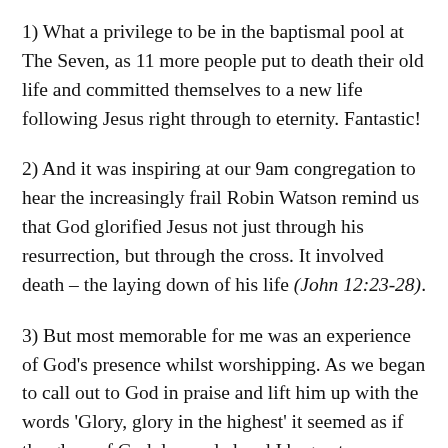1) What a privilege to be in the baptismal pool at The Seven, as 11 more people put to death their old life and committed themselves to a new life following Jesus right through to eternity. Fantastic!
2) And it was inspiring at our 9am congregation to hear the increasingly frail Robin Watson remind us that God glorified Jesus not just through his resurrection, but through the cross. It involved death – the laying down of his life (John 12:23-28).
3) But most memorable for me was an experience of God's presence whilst worshipping. As we began to call out to God in praise and lift him up with the words 'Glory, glory in the highest' it seemed as if the glory of God descended and I began to weep with thanksgiving